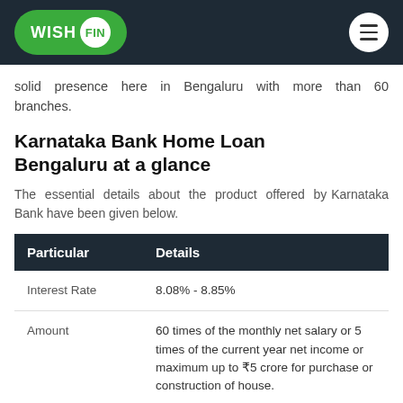WISH FIN
solid presence here in Bengaluru with more than 60 branches.
Karnataka Bank Home Loan Bengaluru at a glance
The essential details about the product offered by Karnataka Bank have been given below.
| Particular | Details |
| --- | --- |
| Interest Rate | 8.08% - 8.85% |
| Amount | 60 times of the monthly net salary or 5 times of the current year net income or maximum up to ₹5 crore for purchase or construction of house. |